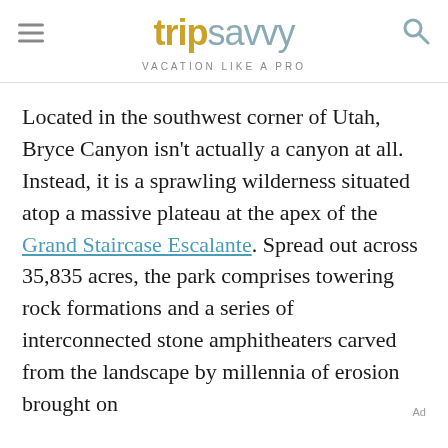tripsavvy VACATION LIKE A PRO
Located in the southwest corner of Utah, Bryce Canyon isn't actually a canyon at all. Instead, it is a sprawling wilderness situated atop a massive plateau at the apex of the Grand Staircase Escalante. Spread out across 35,835 acres, the park comprises towering rock formations and a series of interconnected stone amphitheaters carved from the landscape by millennia of erosion brought on